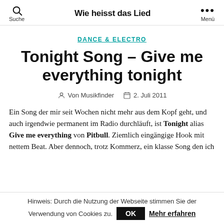Wie heisst das Lied
DANCE & ELECTRO
Tonight Song – Give me everything tonight
Von Musikfinder   2. Juli 2011
Ein Song der mir seit Wochen nicht mehr aus dem Kopf geht, und auch irgendwie permanent im Radio durchläuft, ist Tonight alias Give me everything von Pitbull. Ziemlich eingängige Hook mit nettem Beat. Aber dennoch, trotz Kommerz, ein klasse Song den ich
Hinweis: Durch die Nutzung der Webseite stimmen Sie der Verwendung von Cookies zu.  OK  Mehr erfahren